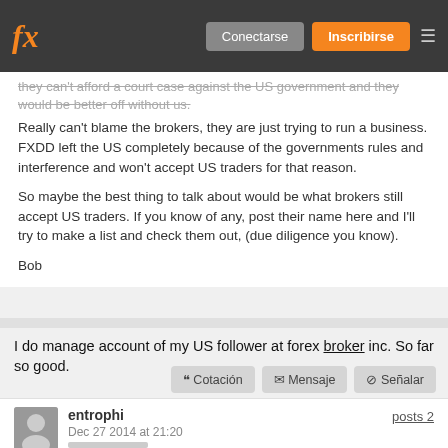fx  Conectarse  Inscribirse
they can't afford a court case against the US government and they would be better off without us.
Really can't blame the brokers, they are just trying to run a business. FXDD left the US completely because of the governments rules and interference and won't accept US traders for that reason.
So maybe the best thing to talk about would be what brokers still accept US traders. If you know of any, post their name here and I'll try to make a list and check them out, (due diligence you know).
Bob
I do manage account of my US follower at forex broker inc. So far so good.
❝ Cotación  ✉ Mensaje  ⊘ Señalar
entrophi   posts 2
Dec 27 2014 at 21:20